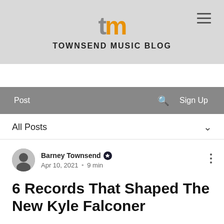TOWNSEND MUSIC BLOG
[Figure (logo): tm logo with t in grey and m in orange]
Post  🔍  Sign Up
All Posts
Barney Townsend  Apr 10, 2021  •  9 min
6 Records That Shaped The New Kyle Falconer